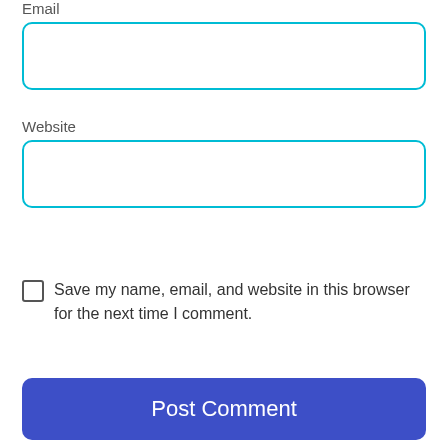Email
[Figure (screenshot): Empty email input field with cyan/teal border and rounded corners]
Website
[Figure (screenshot): Empty website input field with cyan/teal border and rounded corners]
Save my name, email, and website in this browser for the next time I comment.
[Figure (screenshot): Post Comment button with dark blue background and white text]